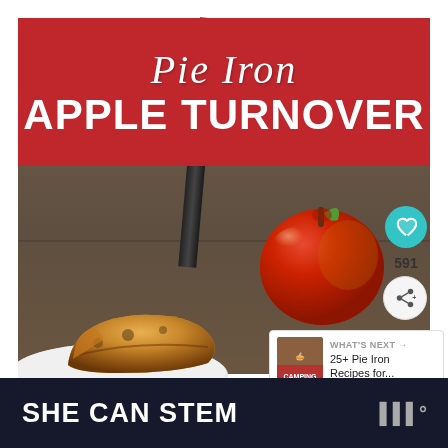[Figure (photo): Pie Iron Apple Turnover recipe image showing a golden-brown pastry turnover on a white plate, a red apple, and a pie iron handle, on a wooden background. Red banner with script and bold title text. Social media UI overlays including like button (591), share button, and 'What's Next' panel for '25+ Pie Iron Recipes for...']
Pie Iron APPLE TURNOVER
WHAT'S NEXT → 25+ Pie Iron Recipes for...
SHE CAN STEM